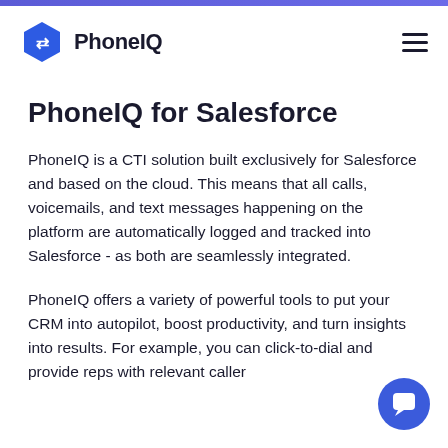PhoneIQ
PhoneIQ for Salesforce
PhoneIQ is a CTI solution built exclusively for Salesforce and based on the cloud. This means that all calls, voicemails, and text messages happening on the platform are automatically logged and tracked into Salesforce - as both are seamlessly integrated.
PhoneIQ offers a variety of powerful tools to put your CRM into autopilot, boost productivity, and turn insights into results. For example, you can click-to-dial and provide reps with relevant caller